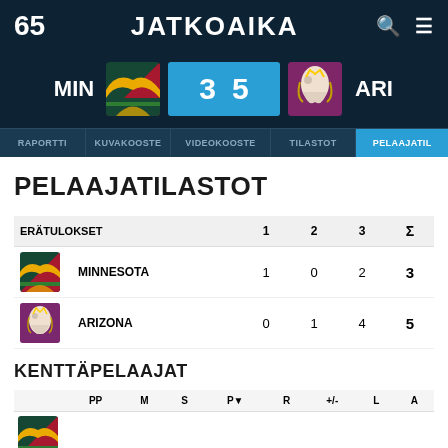65 JATKOAIKA
MIN 3 5 ARI
RAPORTTI  KUVAKOOSTE  VIDEOKOOSTE  TILASTOT  PELAAJATIL
PELAAJATILASTOT
| ERÄTULOKSET | 1 | 2 | 3 | Σ |
| --- | --- | --- | --- | --- |
| MINNESOTA | 1 | 0 | 2 | 3 |
| ARIZONA | 0 | 1 | 4 | 5 |
KENTTÄPELAAJAT
|  | PP | M | S | P | R | +/- | L | A |
| --- | --- | --- | --- | --- | --- | --- | --- | --- |